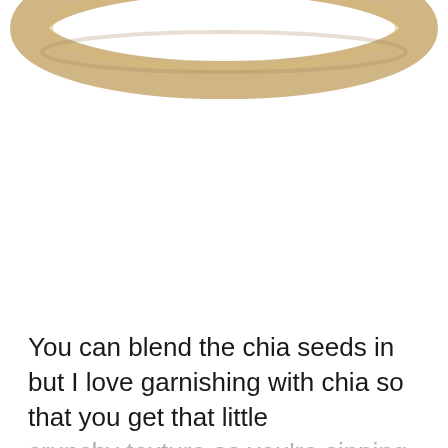[Figure (photo): Partial top-down view of a bowl or plate with a light beige/tan rim visible at the top of the image, on a white background. The bowl is cropped so only the rim is visible.]
You can blend the chia seeds in but I love garnishing with chia so that you get that little crunchy texture as you're sipping.